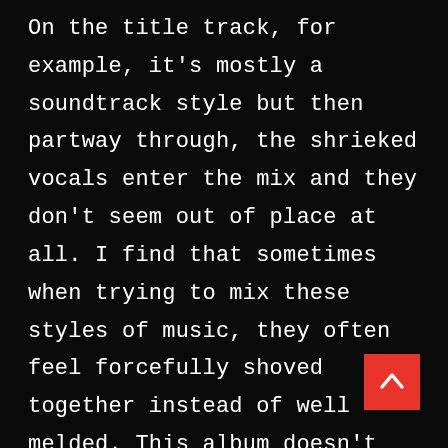On the title track, for example, it's mostly a soundtrack style but then partway through, the shrieked vocals enter the mix and they don't seem out of place at all. I find that sometimes when trying to mix these styles of music, they often feel forcefully shoved together instead of well melded. This album doesn't suffer in the slightest from that pitfall.

I can't speak praise enough for the musicianship and songwriting of this album. The sound is massive and soaring, yet somehow retains this darkness that is woven